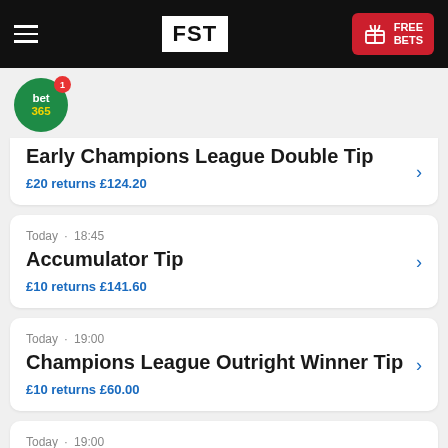FST | FREE BETS
[Figure (logo): bet365 green circle logo with notification badge]
Early Champions League Double Tip
£20 returns £124.20
Today · 18:45
Accumulator Tip
£10 returns £141.60
Today · 19:00
Champions League Outright Winner Tip
£10 returns £60.00
Today · 19:00
European Outright Winner Tip...